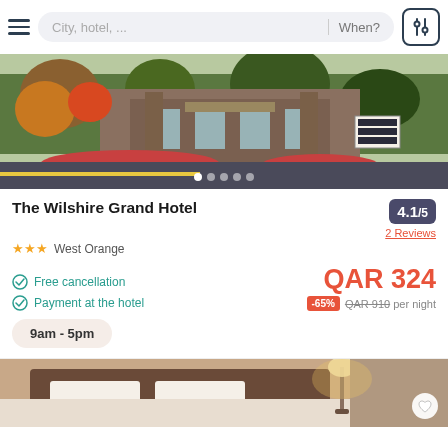City, hotel, ... | When?
[Figure (photo): Hotel exterior photo showing The Wilshire Grand Hotel with landscaped gardens, brick entrance, and autumn foliage. Image carousel with 5 dots.]
The Wilshire Grand Hotel
4.1/5
★★★ West Orange
2 Reviews
Free cancellation
Payment at the hotel
QAR 324
-65% QAR 910 per night
9am - 5pm
[Figure (photo): Hotel room interior photo showing bed with white linens and warm lighting.]